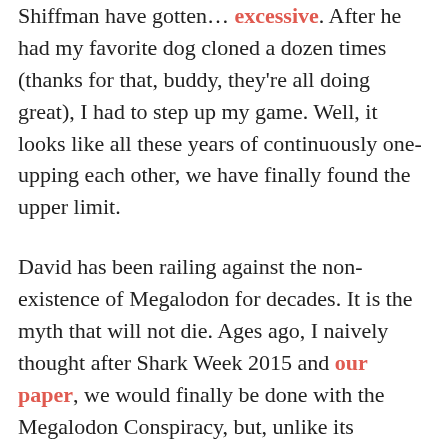Shiffman have gotten… excessive. After he had my favorite dog cloned a dozen times (thanks for that, buddy, they're all doing great), I had to step up my game. Well, it looks like all these years of continuously one-upping each other, we have finally found the upper limit.
David has been railing against the non-existence of Megalodon for decades. It is the myth that will not die. Ages ago, I naively thought after Shark Week 2015 and our paper, we would finally be done with the Megalodon Conspiracy, but, unlike its namesake, the legend persists.